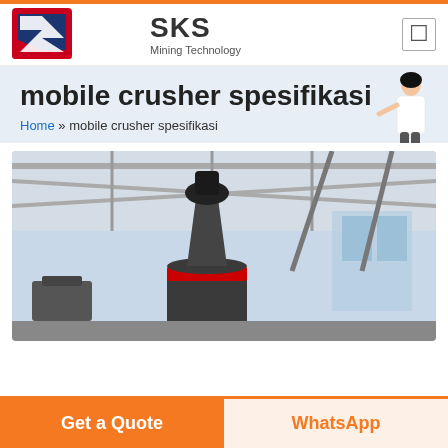SKS Mining Technology
mobile crusher spesifikasi
Home » mobile crusher spesifikasi
[Figure (photo): Industrial cone crusher machine inside a factory warehouse with steel truss roof structure]
Get a Quote
WhatsApp